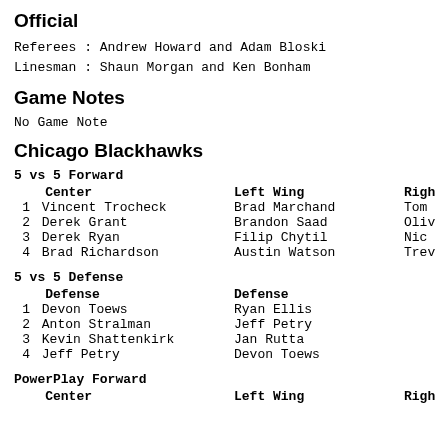Official
Referees : Andrew Howard and Adam Bloski
Linesman : Shaun Morgan and Ken Bonham
Game Notes
No Game Note
Chicago Blackhawks
5 vs 5 Forward
  Center         Left Wing       Right Wing
1 Vincent Trocheck   Brad Marchand   Tom...
2 Derek Grant        Brandon Saad    Oliv...
3 Derek Ryan         Filip Chytil    Nic...
4 Brad Richardson    Austin Watson   Trev...
5 vs 5 Defense
  Defense        Defense
1 Devon Toews     Ryan Ellis
2 Anton Stralman  Jeff Petry
3 Kevin Shattenkirk  Jan Rutta
4 Jeff Petry      Devon Toews
PowerPlay Forward
  Center         Left Wing       Right Wing